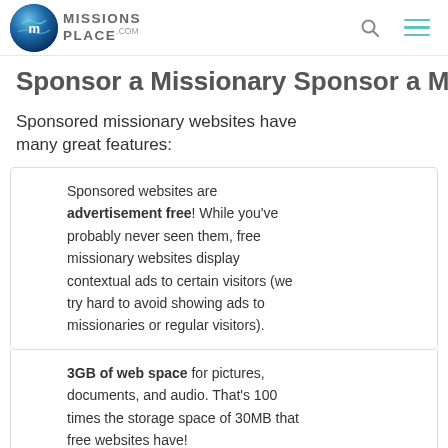Missions Place .com
Sponsor a Missionary
Sponsored missionary websites have many great features:
Sponsored websites are advertisement free! While you've probably never seen them, free missionary websites display contextual ads to certain visitors (we try hard to avoid showing ads to missionaries or regular visitors).
3GB of web space for pictures, documents, and audio. That's 100 times the storage space of 30MB that free websites have!